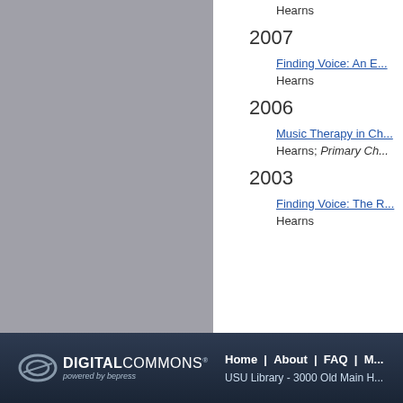Hearns
2007
Finding Voice: An E...
Hearns
2006
Music Therapy in Ch...
Hearns; Primary Ch...
2003
Finding Voice: The R...
Hearns
Home | About | FAQ | M... | USU Library - 3000 Old Main H...